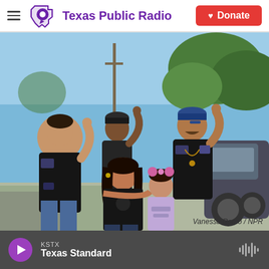Texas Public Radio | Donate
[Figure (photo): Group photo of five people outdoors — three adults in black biker vests with patches making hand gestures, a woman in a black t-shirt, and a young girl in a lavender top with pink bow headband, standing in front of a motorcycle with trees in background.]
Vanessa Romo / NPR
KSTX
Texas Standard